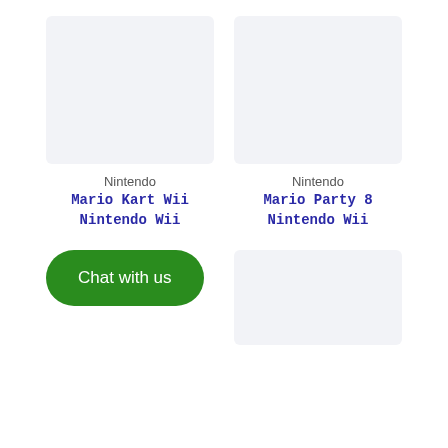[Figure (other): Gray placeholder image box for Mario Kart Wii product]
[Figure (other): Gray placeholder image box for Mario Party 8 product]
Nintendo
Mario Kart Wii
Nintendo Wii
Nintendo
Mario Party 8
Nintendo Wii
[Figure (other): Green Chat with us button]
[Figure (other): Gray placeholder image box for a third product]